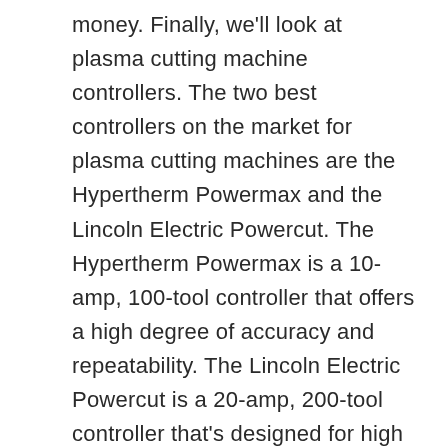money. Finally, we'll look at plasma cutting machine controllers. The two best controllers on the market for plasma cutting machines are the Hypertherm Powermax and the Lincoln Electric Powercut. The Hypertherm Powermax is a 10-amp, 100-tool controller that offers a high degree of accuracy and repeatability. The Lincoln Electric Powercut is a 20-amp, 200-tool controller that's designed for high speed and precision cutting. Both of these controllers are top of the line and will offer you the best performance for your money. So, there you have it, the best CNC controllers for mills, lathes, and plasma cutting machines. No matter what your budget is, there's a controller on this list that will meet your needs.